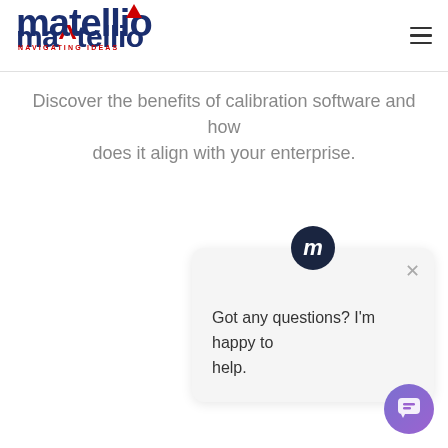[Figure (logo): Matellio logo with dark blue text and red accent flag, tagline NAVIGATING IDEAS in red below]
[Figure (other): Hamburger menu icon (three horizontal lines) in top right corner]
Discover the benefits of calibration software and how does it align with your enterprise.
[Figure (other): Chat popup widget with Matellio avatar icon and message: Got any questions? I'm happy to help.]
[Figure (other): Purple chat bubble button in bottom right corner]